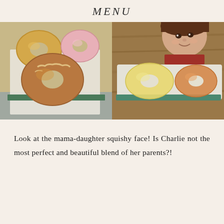MENU
[Figure (photo): Left photo: Three donuts on paper - a plain glazed donut, a pink frosted donut, and a large old-fashioned glazed donut, with a green tray visible at bottom edge]
[Figure (photo): Right photo: A young girl peeking over a tray of glazed donuts, smiling at the camera, with wooden background]
Look at the mama-daughter squishy face! Is Charlie not the most perfect and beautiful blend of her parents?!